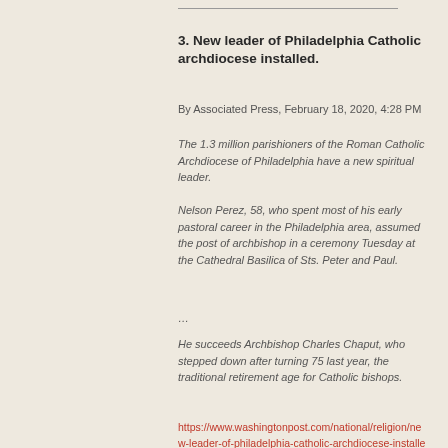3. New leader of Philadelphia Catholic archdiocese installed.
By Associated Press, February 18, 2020, 4:28 PM
The 1.3 million parishioners of the Roman Catholic Archdiocese of Philadelphia have a new spiritual leader.
Nelson Perez, 58, who spent most of his early pastoral career in the Philadelphia area, assumed the post of archbishop in a ceremony Tuesday at the Cathedral Basilica of Sts. Peter and Paul.
…
He succeeds Archbishop Charles Chaput, who stepped down after turning 75 last year, the traditional retirement age for Catholic bishops.
https://www.washingtonpost.com/national/religion/new-leader-of-philadelphia-catholic-archdiocese-installed/2020/02/18/9c57a6f0-5295-11ea-80ce-